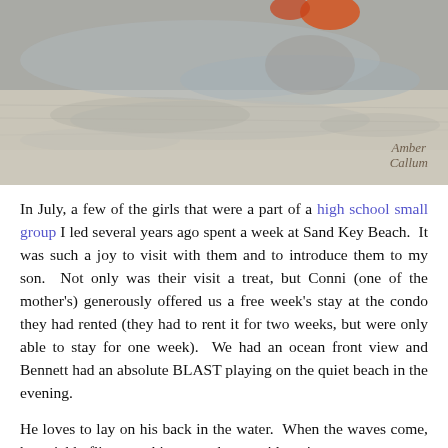[Figure (photo): A beach/water scene photo with a child playing in shallow water at the shoreline. Sandy beach with water reflections visible. Photo has a watermark reading 'Amber Callum' in script in the bottom right corner.]
In July, a few of the girls that were a part of a high school small group I led several years ago spent a week at Sand Key Beach. It was such a joy to visit with them and to introduce them to my son. Not only was their visit a treat, but Conni (one of the mother's) generously offered us a free week's stay at the condo they had rented (they had to rent it for two weeks, but were only able to stay for one week). We had an ocean front view and Bennett had an absolute BLAST playing on the quiet beach in the evening.
He loves to lay on his back in the water. When the waves come, he quickly flips onto his stomach to avoid getting...